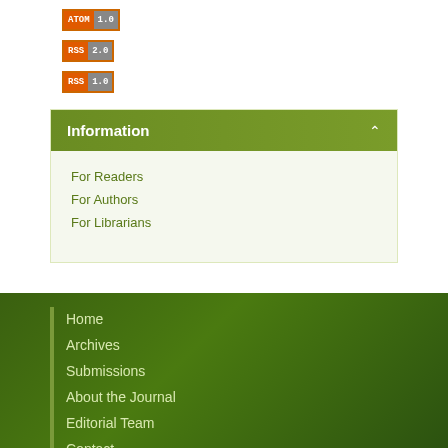[Figure (other): Feed badge buttons: ATOM 1.0, RSS 2.0, RSS 1.0]
Information
For Readers
For Authors
For Librarians
Home
Archives
Submissions
About the Journal
Editorial Team
Contact